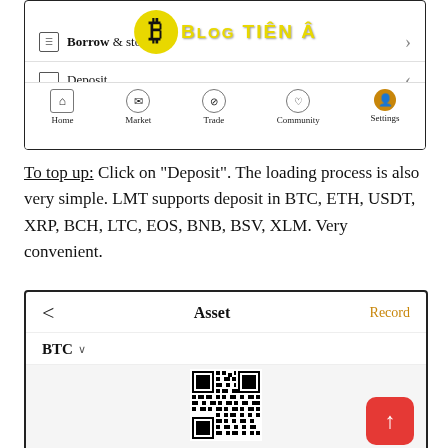[Figure (screenshot): Mobile app interface showing 'Borrow' and 'Deposit' menu rows with bottom navigation bar (Home, Market, Trade, Community, Settings) overlaid with Blog Tien Ao watermark]
To top up: Click on "Deposit". The loading process is also very simple. LMT supports deposit in BTC, ETH, USDT, XRP, BCH, LTC, EOS, BNB, BSV, XLM. Very convenient.
[Figure (screenshot): Asset deposit screen showing back arrow, Asset title, Record link in gold, BTC dropdown selector, and a QR code with red upload FAB button]